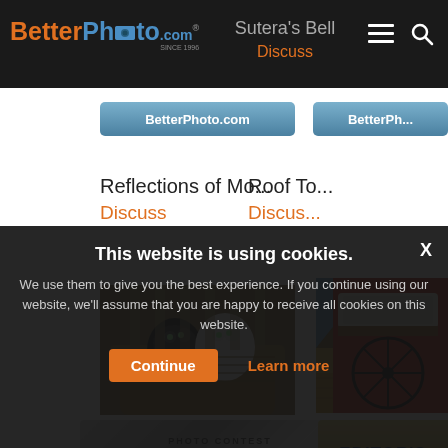[Figure (screenshot): BetterPhoto.com website screenshot showing photo gallery with Editor's Pick images, navigation bar with logo and search icon, cookie consent overlay at bottom]
BetterPhoto.com
Sutera's Bell
Discuss
BetterPhoto.com
BetterPhot...
Reflections of Mo...
Discuss
Roof To...
Discuss
PHOTO CONTEST FINALIST
EDITOR'S PICK
EDITOR'S
This website is using cookies.
We use them to give you the best experience. If you continue using our website, we'll assume that you are happy to receive all cookies on this website.
Continue   Learn more